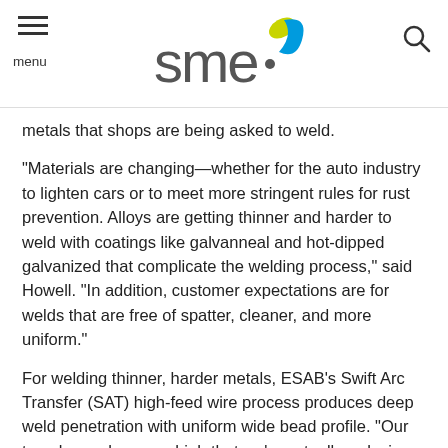SME — menu / search
metals that shops are being asked to weld.
“Materials are changing—whether for the auto industry to lighten cars or to meet more stringent rules for rust prevention. Alloys are getting thinner and harder to weld with coatings like galvanneal and hot-dipped galvanized that complicate the welding process,” said Howell. “In addition, customer expectations are for welds that are free of spatter, cleaner, and more uniform.”
For welding thinner, harder metals, ESAB’s Swift Arc Transfer (SAT) high-feed wire process produces deep weld penetration with uniform wide bead profile. “Our travel speeds are so high that we’re actually reducing the heat input and, in turn, producing better parts with less weld distortion and